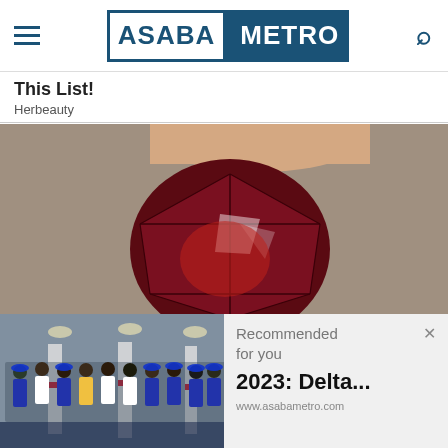ASABA METRO
This List!
Herbeauty
[Figure (photo): Close-up photo of a dark red faceted gemstone (garnet) held between fingers against a grey background]
[Figure (photo): Group photo of people in a hall wearing blue caps and white/coloured clothing, standing in front of white pillars with red stripe]
Recommended for you
2023: Delta...
www.asabametro.com